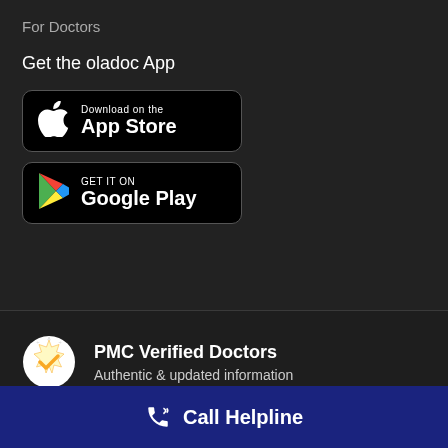For Doctors
Get the oladoc App
[Figure (logo): Download on the App Store button — black rounded rectangle with Apple logo and text 'Download on the App Store']
[Figure (logo): Get it on Google Play button — black rounded rectangle with Google Play triangle logo and text 'GET IT ON Google Play']
[Figure (infographic): PMC Verified Doctors badge icon — circular white badge with orange checkmark]
PMC Verified Doctors
Authentic & updated information
Money Back Guarantee
Call Helpline